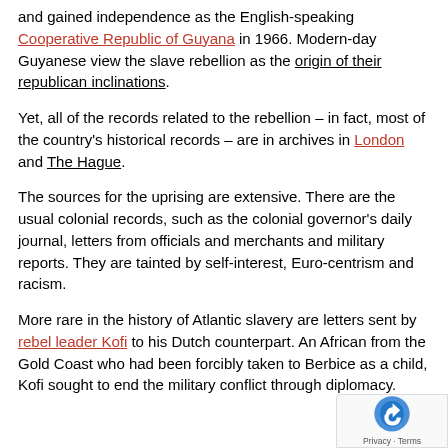and gained independence as the English-speaking Cooperative Republic of Guyana in 1966. Modern-day Guyanese view the slave rebellion as the origin of their republican inclinations.
Yet, all of the records related to the rebellion – in fact, most of the country's historical records – are in archives in London and The Hague.
The sources for the uprising are extensive. There are the usual colonial records, such as the colonial governor's daily journal, letters from officials and merchants and military reports. They are tainted by self-interest, Euro-centrism and racism.
More rare in the history of Atlantic slavery are letters sent by rebel leader Kofi to his Dutch counterpart. An African from the Gold Coast who had been forcibly taken to Berbice as a child, Kofi sought to end the military conflict through diplomacy.